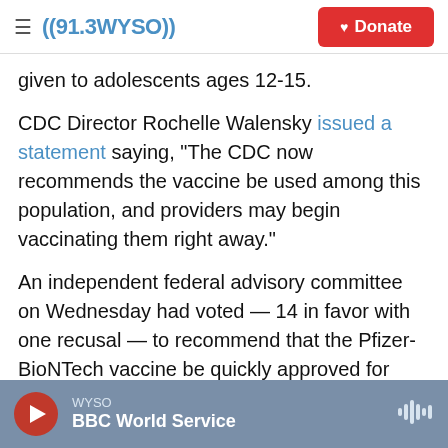((91.3 WYSO)) Donate
given to adolescents ages 12-15.
CDC Director Rochelle Walensky issued a statement saying, "The CDC now recommends the vaccine be used among this population, and providers may begin vaccinating them right away."
An independent federal advisory committee on Wednesday had voted — 14 in favor with one recusal — to recommend that the Pfizer-BioNTech vaccine be quickly approved for those as young as 12.
WYSO BBC World Service